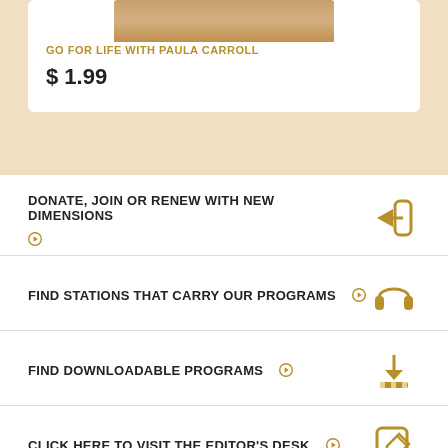GO FOR LIFE WITH PAULA CARROLL
$ 1.99
DONATE, JOIN OR RENEW WITH NEW DIMENSIONS
FIND STATIONS THAT CARRY OUR PROGRAMS
FIND DOWNLOADABLE PROGRAMS
CLICK HERE TO VISIT THE EDITOR'S DESK